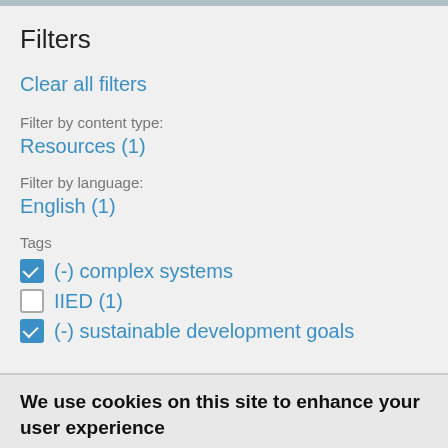Filters
Clear all filters
Filter by content type:
Resources (1)
Filter by language:
English (1)
Tags
(-) complex systems
IIED (1)
(-) sustainable development goals
We use cookies on this site to enhance your user experience